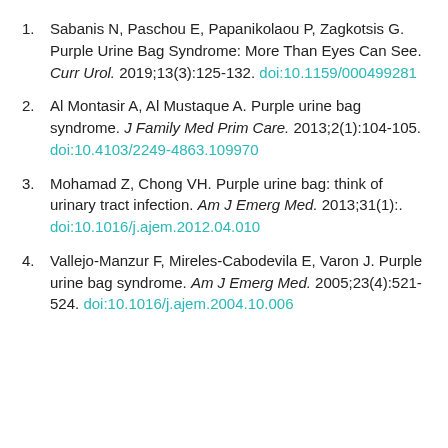Sabanis N, Paschou E, Papanikolaou P, Zagkotsis G. Purple Urine Bag Syndrome: More Than Eyes Can See. Curr Urol. 2019;13(3):125-132. doi:10.1159/000499281
Al Montasir A, Al Mustaque A. Purple urine bag syndrome. J Family Med Prim Care. 2013;2(1):104-105. doi:10.4103/2249-4863.109970
Mohamad Z, Chong VH. Purple urine bag: think of urinary tract infection. Am J Emerg Med. 2013;31(1):. doi:10.1016/j.ajem.2012.04.010
Vallejo-Manzur F, Mireles-Cabodevila E, Varon J. Purple urine bag syndrome. Am J Emerg Med. 2005;23(4):521-524. doi:10.1016/j.ajem.2004.10.006